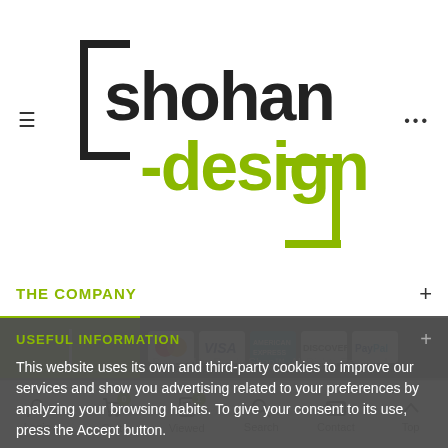[Figure (logo): Shohan Design logo with black and olive/green typography, stylized 'shohan-design' text]
THE COMPANY
USEFUL INFORMATION
This website uses its own and third-party cookies to improve our services and show you advertising related to your preferences by analyzing your browsing habits. To give your consent to its use, press the Accept button.
PARTNERS
MORE INFORMATION
CUSTOMIZE COOKIES
[Figure (other): Payment method icons: Mastercard, VISA, American Express, Discover, PayPal]
Powered by Presta Shop™. All Rights Reserved
Login   Cart 0   Viewed 1   Search   Contact   Top